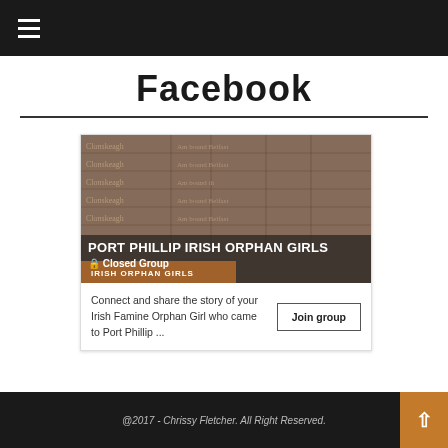≡ (menu)
Facebook
[Figure (screenshot): Facebook closed group card for 'Port Phillip Irish Orphan Girls' showing an old document background image with group name, closed group label, and a brown 'Irish Orphan Girls' badge overlay.]
Connect and share the story of your Irish Famine Orphan Girl who came to Port Phillip ...
@2017 - Chrissy Fletcher. All Right Reserved.